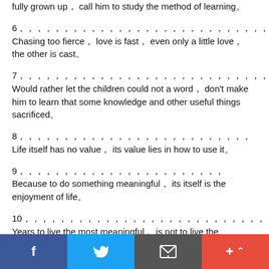fully grown up， call him to study the method of learning。
6，，，，，，，，，，，，，，，，，，，，，，，，，，，，，，，，，，，，，，，，Chasing too fierce， love is fast， even only a little love， the other is cast。
7，，，，，，，，，，，，，，，，，，，，，，，，，，，，，，，，，，，，，，，，，，，，，，，Would rather let the children could not a word， don't make him to learn that some knowledge and other useful things sacrificed。
8，，，，，，，，，，，，，，，，，，，，，，，，，，Life itself has no value， its value lies in how to use it。
9，，，，，，，，，，，，，，，，，，，，，，，Because to do something meaningful， its itself is the enjoyment of life。
10，，，，，，，，，，，，，，，，，，，，，，，，，，，，，，，，，，，，，，，Years to live the most meaningful， is not to live the longest， but the life most feelings of people。